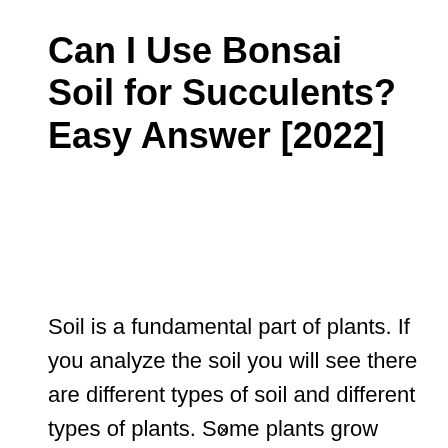Can I Use Bonsai Soil for Succulents? Easy Answer [2022]
Soil is a fundamental part of plants. If you analyze the soil you will see there are different types of soil and different types of plants. Some plants grow well in watery conditions. Some grow well in dry conditions. Each type of plant requires a different condition of the soil. Today we will tell you …
×